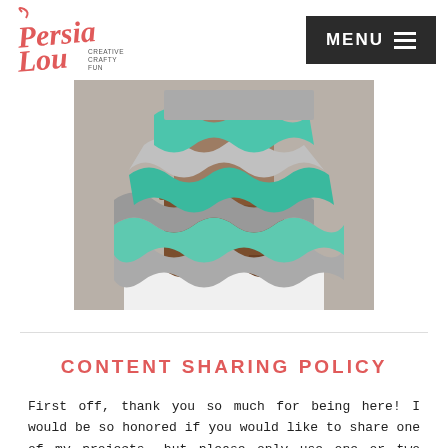[Figure (logo): Persia Lou blog logo in coral/pink handwritten script with 'Creative Crafty Fun' text]
[Figure (photo): A crocheted ripple blanket in shades of teal, mint, gray, and white draped over a wooden chair]
CONTENT SHARING POLICY
First off, thank you so much for being here! I would be so honored if you would like to share one of my projects, but please only use one or two photos and be sure to link back